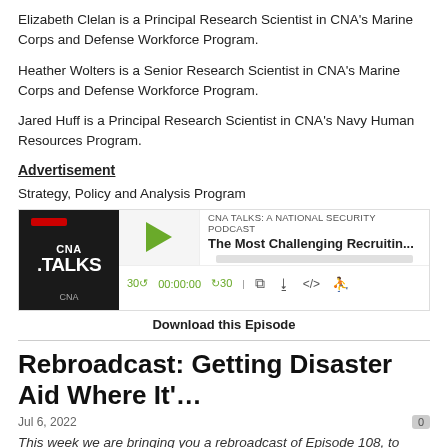Elizabeth Clelan is a Principal Research Scientist in CNA's Marine Corps and Defense Workforce Program.
Heather Wolters is a Senior Research Scientist in CNA's Marine Corps and Defense Workforce Program.
Jared Huff is a Principal Research Scientist in CNA's Navy Human Resources Program.
Advertisement
Strategy, Policy and Analysis Program
[Figure (other): CNA Talks podcast player widget showing episode 'The Most Challenging Recruitin...' with play button, progress bar, and transport controls showing 30 rewind, 00:00:00, forward 30]
Download this Episode
Rebroadcast: Getting Disaster Aid Where It'…
Jul 6, 2022
This week we are bringing you a rebroadcast of Episode 108, to coincide